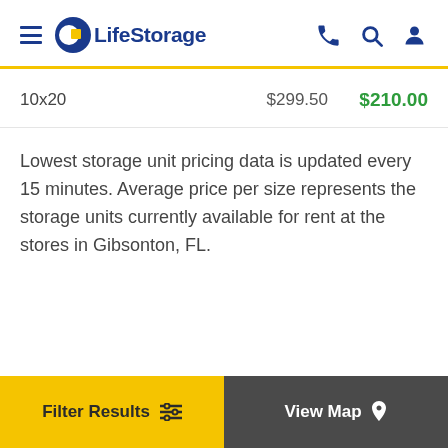LifeStorage – navigation header with hamburger menu, logo, phone, search, and account icons
| Size | Original Price | Sale Price |
| --- | --- | --- |
| 10x20 | $299.50 | $210.00 |
Lowest storage unit pricing data is updated every 15 minutes. Average price per size represents the storage units currently available for rent at the stores in Gibsonton, FL.
Filter Results | View Map